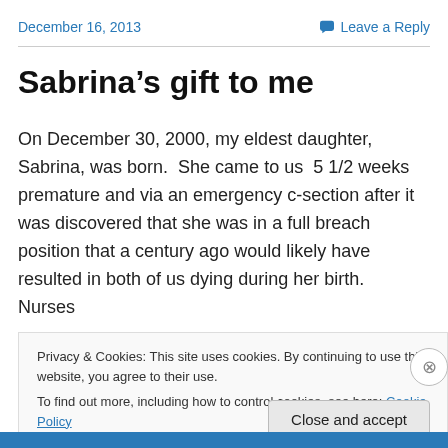December 16, 2013
Leave a Reply
Sabrina’s gift to me
On December 30, 2000, my eldest daughter, Sabrina, was born.  She came to us  5 1/2 weeks premature and via an emergency c-section after it was discovered that she was in a full breach position that a century ago would likely have resulted in both of us dying during her birth.  Nurses
Privacy & Cookies: This site uses cookies. By continuing to use this website, you agree to their use.
To find out more, including how to control cookies, see here: Cookie Policy
Close and accept